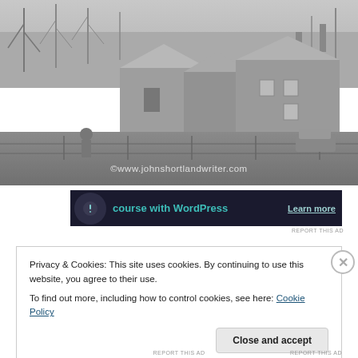[Figure (photo): Black and white photograph of rural English countryside scene with stone cottages, bare winter trees, a person standing near a fence, and a car. Watermark reads: ©www.johnshortlandwriter.com]
[Figure (other): Advertisement banner with dark background showing text 'course with WordPress' in teal and 'Learn more' link.]
REPORT THIS AD
Privacy & Cookies: This site uses cookies. By continuing to use this website, you agree to their use.
To find out more, including how to control cookies, see here: Cookie Policy
Close and accept
REPORT THIS AD